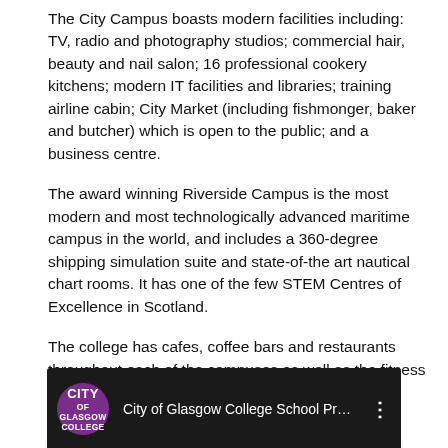The City Campus boasts modern facilities including: TV, radio and photography studios; commercial hair, beauty and nail salon; 16 professional cookery kitchens; modern IT facilities and libraries; training airline cabin; City Market (including fishmonger, baker and butcher) which is open to the public; and a business centre.
The award winning Riverside Campus is the most modern and most technologically advanced maritime campus in the world, and includes a 360-degree shipping simulation suite and state-of-the art nautical chart rooms. It has one of the few STEM Centres of Excellence in Scotland.
The college has cafes, coffee bars and restaurants throughout each of the campuses as well as the fitness suite, CitySport+ at the City Campus.
Video
[Figure (screenshot): YouTube video thumbnail showing City of Glasgow College School Pr... with purple circular logo on dark background]